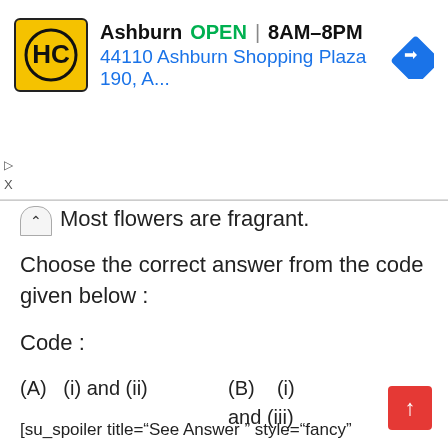[Figure (screenshot): Advertisement banner for Hardee's (HC) restaurant in Ashburn, showing logo, OPEN status, hours 8AM-8PM, and address 44110 Ashburn Shopping Plaza 190, A... with navigation icon]
Most flowers are fragrant.
Choose the correct answer from the code given below :
Code :
(A)   (i) and (ii)
(B)   (i) and (iii)
(C)   (ii) and (iii)
(D)   (iii) and (iv)
[su_spoiler title="See Answer " style="fancy"